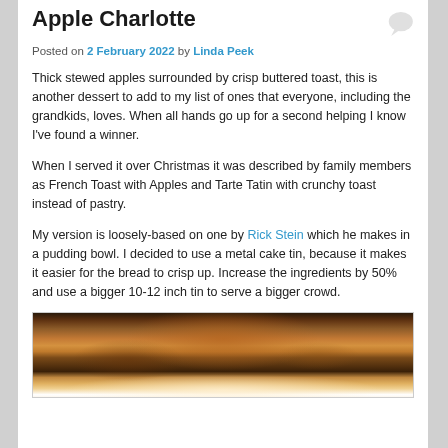Apple Charlotte
Posted on 2 February 2022 by Linda Peek
Thick stewed apples surrounded by crisp buttered toast, this is another dessert to add to my list of ones that everyone, including the grandkids, loves. When all hands go up for a second helping I know I've found a winner.
When I served it over Christmas it was described by family members as French Toast with Apples and Tarte Tatin with crunchy toast instead of pastry.
My version is loosely-based on one by Rick Stein which he makes in a pudding bowl. I decided to use a metal cake tin, because it makes it easier for the bread to crisp up. Increase the ingredients by 50% and use a bigger 10-12 inch tin to serve a bigger crowd.
[Figure (photo): A photo of Apple Charlotte dessert showing caramelized toast with apple filling dusted with powdered sugar]